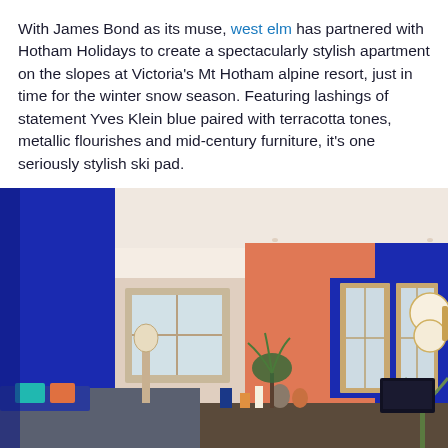With James Bond as its muse, west elm has partnered with Hotham Holidays to create a spectacularly stylish apartment on the slopes at Victoria's Mt Hotham alpine resort, just in time for the winter snow season. Featuring lashings of statement Yves Klein blue paired with terracotta tones, metallic flourishes and mid-century furniture, it's one seriously stylish ski pad.
[Figure (photo): Interior photo of a stylish apartment featuring bold Yves Klein blue walls, terracotta/salmon-colored accent wall, wooden-framed windows, globe pendant light, modern furniture, and decorative plants.]